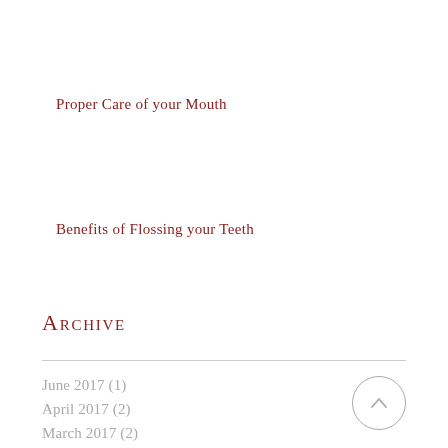Proper Care of your Mouth
Benefits of Flossing your Teeth
Archive
June 2017 (1)
April 2017 (2)
March 2017 (2)